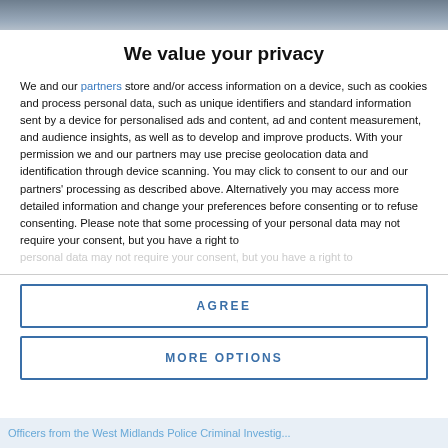[Figure (photo): Partial background photo visible at top of page behind modal overlay]
We value your privacy
We and our partners store and/or access information on a device, such as cookies and process personal data, such as unique identifiers and standard information sent by a device for personalised ads and content, ad and content measurement, and audience insights, as well as to develop and improve products. With your permission we and our partners may use precise geolocation data and identification through device scanning. You may click to consent to our and our partners' processing as described above. Alternatively you may access more detailed information and change your preferences before consenting or to refuse consenting. Please note that some processing of your personal data may not require your consent, but you have a right to
AGREE
MORE OPTIONS
Officers from the West Midlands Police Criminal Investig...